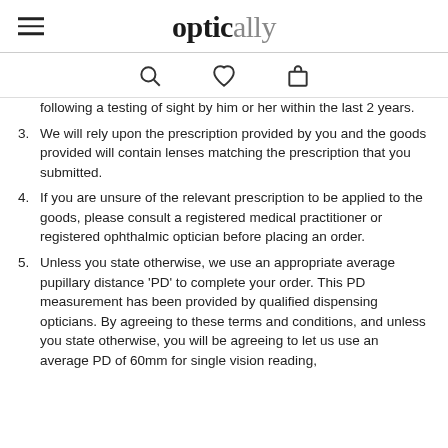optically
following a testing of sight by him or her within the last 2 years.
3. We will rely upon the prescription provided by you and the goods provided will contain lenses matching the prescription that you submitted.
4. If you are unsure of the relevant prescription to be applied to the goods, please consult a registered medical practitioner or registered ophthalmic optician before placing an order.
5. Unless you state otherwise, we use an appropriate average pupillary distance 'PD' to complete your order. This PD measurement has been provided by qualified dispensing opticians. By agreeing to these terms and conditions, and unless you state otherwise, you will be agreeing to let us use an average PD of 60mm for single vision reading,